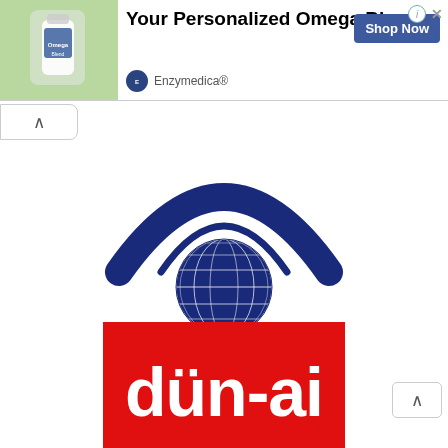[Figure (infographic): Advertisement banner for Enzymedica personalized omega blend supplement with product image, title text 'Your Personalized Omega Blend', 'Shop Now' button, and Enzymedica brand logo]
[Figure (logo): Blue globe with radio wave arcs above it and cursive script 'ibm' or similar text below — organization logo in dark navy blue]
[Figure (logo): Red rectangle logo with white bold text reading 'dün-ai']